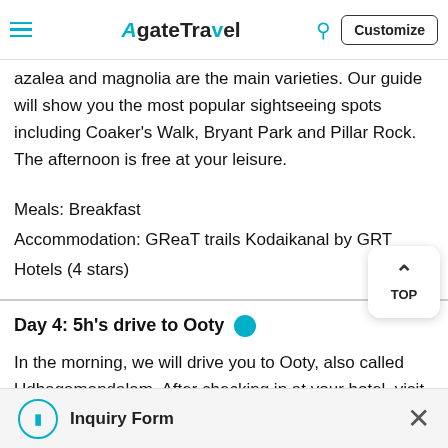Agate Travel — navigation bar with hamburger menu, logo, search icon, and Customize button
azalea and magnolia are the main varieties. Our guide will show you the most popular sightseeing spots including Coaker's Walk, Bryant Park and Pillar Rock. The afternoon is free at your leisure.
Meals: Breakfast
Accommodation: GReaT trails Kodaikanal by GRT Hotels (4 stars)
Day 4: 5h's drive to Ooty
In the morning, we will drive you to Ooty, also called Udhagamandalam. After checking in at your hotel, visit the
Inquiry Form